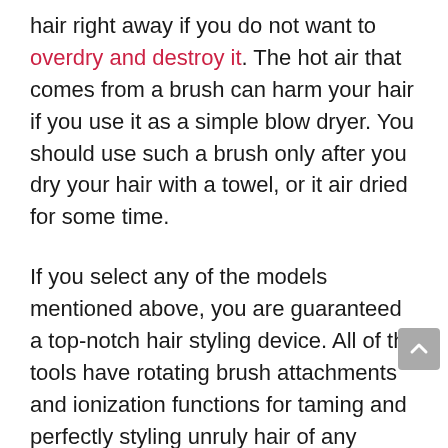hair right away if you do not want to overdry and destroy it. The hot air that comes from a brush can harm your hair if you use it as a simple blow dryer. You should use such a brush only after you dry your hair with a towel, or it air dried for some time.
If you select any of the models mentioned above, you are guaranteed a top-notch hair styling device. All of the tools have rotating brush attachments and ionization functions for taming and perfectly styling unruly hair of any length and thickness. They will help to make it look healthy and shiny.
It honestly took me some time to get used to styling my hair with a rotating hot air brush quickly, but the results are worth it. Although such a tool